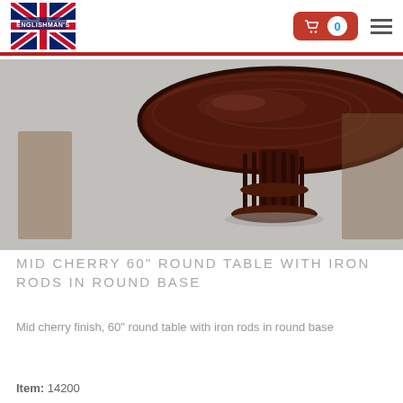Englishman's logo, cart button with 0 items, hamburger menu
[Figure (photo): A round cherry wood dining table with iron rods in a round base, photographed on a grey carpet background.]
MID CHERRY 60" ROUND TABLE WITH IRON RODS IN ROUND BASE
Mid cherry finish, 60" round table with iron rods in round base
Item: 14200